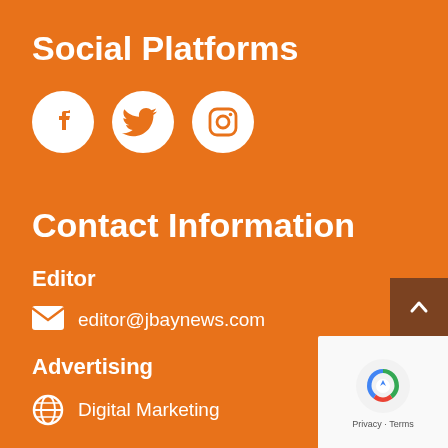Social Platforms
[Figure (illustration): Three white circular social media icons: Facebook, Twitter/X, and Instagram on an orange background]
Contact Information
Editor
editor@jbaynews.com
Advertising
Digital Marketing